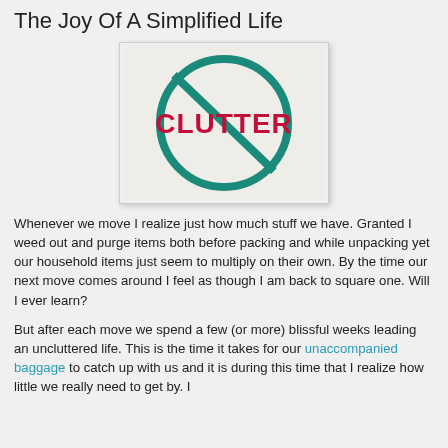The Joy Of A Simplified Life
[Figure (illustration): A no-clutter sign: a circle with a diagonal line through it (prohibition symbol) in teal/dark green, with the word CLUTTER in bold red text in the center, on a light beige/gray background.]
Whenever we move I realize just how much stuff we have. Granted I weed out and purge items both before packing and while unpacking yet our household items just seem to multiply on their own. By the time our next move comes around I feel as though I am back to square one. Will I ever learn?
But after each move we spend a few (or more) blissful weeks leading an uncluttered life. This is the time it takes for our unaccompanied baggage to catch up with us and it is during this time that I realize how little we really need to get by. I